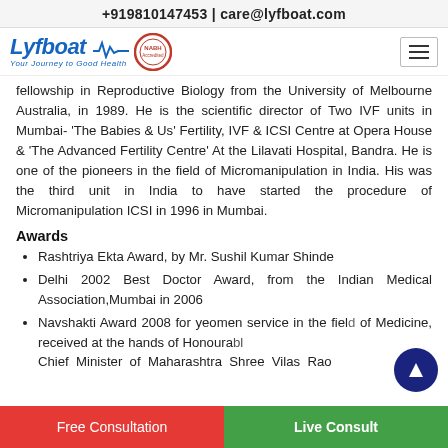+919810147453 | care@lyfboat.com
[Figure (logo): Lyfboat logo with tagline 'Your Journey to Good Health' and circular NABH accreditation emblem, plus hamburger menu icon]
fellowship in Reproductive Biology from the University of Melbourne Australia, in 1989. He is the scientific director of Two IVF units in Mumbai- 'The Babies & Us' Fertility, IVF & ICSI Centre at Opera House & 'The Advanced Fertility Centre' At the Lilavati Hospital, Bandra. He is one of the pioneers in the field of Micromanipulation in India. His was the third unit in India to have started the procedure of Micromanipulation ICSI in 1996 in Mumbai.
Awards
Rashtriya Ekta Award, by Mr. Sushil Kumar Shinde
Delhi 2002 Best Doctor Award, from the Indian Medical Association,Mumbai in 2006
Navshakti Award 2008 for yeomen service in the field of Medicine, received at the hands of Honourable Chief Minister of Maharashtra Shree Vilas Rao
Free Consultation | Live Consult